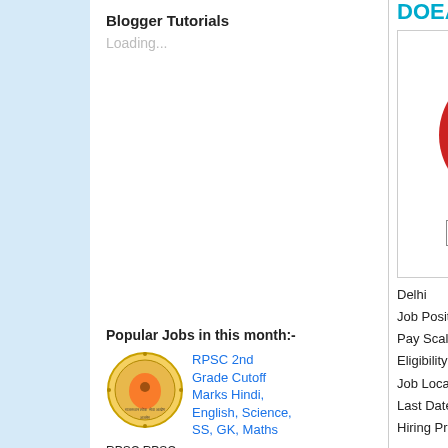Blogger Tutorials
Loading...
Popular Jobs in this month:-
[Figure (logo): RPSC circular logo with Rajasthan map]
RPSC 2nd Grade Cutoff Marks Hindi, English, Science, SS, GK, Maths
RPSC RPSC 2nd Grade Cutoff Marks, RPSC 2nd Grade Hindi Cutoff, RPSC 2nd Grade English Cutoff, RPSC 2nd Grade Science Cutoff
DOEACC S
[Figure (logo): DOEACC Quality Assurance in Computer Education red wax seal logo with Hindi text below]
Delhi
Job Position : Syste
Pay Scale : Rs12,50
Eligibility : BE, B Tec
Job Location : Delhi
Last Date : 16-08-20
Hiring Process: Writt
Applications are invi DOEACC Society C
Systems Analy
1. Pay Scale: Rs
2. Qualification: communicatio